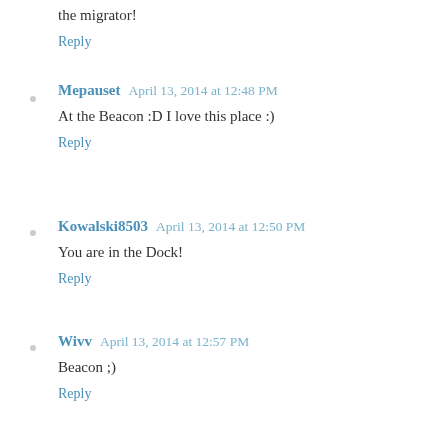the migrator!
Reply
Mepauset  April 13, 2014 at 12:48 PM
At the Beacon :D I love this place :)
Reply
Kowalski8503  April 13, 2014 at 12:50 PM
You are in the Dock!
Reply
Wivv  April 13, 2014 at 12:57 PM
Beacon ;)
Reply